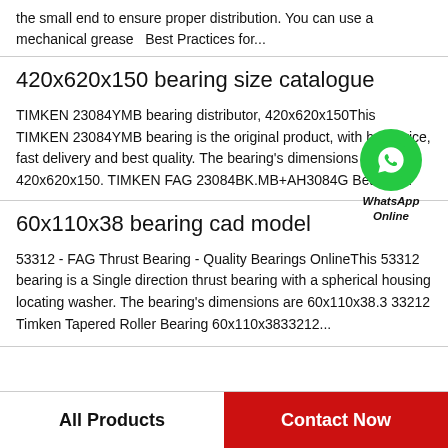the small end to ensure proper distribution. You can use a mechanical grease  Best Practices for...
420x620x150 bearing size catalogue
TIMKEN 23084YMB bearing distributor, 420x620x150This TIMKEN 23084YMB bearing is the original product, with best price, fast delivery and best quality. The bearing's dimensions are 420x620x150. TIMKEN FAG 23084BK.MB+AH3084G Bearing...
[Figure (logo): WhatsApp Online contact badge with green phone icon circle and italic text]
60x110x38 bearing cad model
53312 - FAG Thrust Bearing - Quality Bearings OnlineThis 53312 bearing is a Single direction thrust bearing with a spherical housing locating washer. The bearing's dimensions are 60x110x38.3 33212 Timken Tapered Roller Bearing 60x110x3833212...
All Products    Contact Now